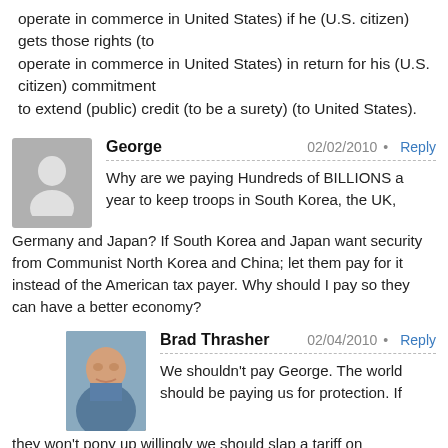operate in commerce in United States) if he (U.S. citizen) gets those rights (to operate in commerce in United States) in return for his (U.S. citizen) commitment to extend (public) credit (to be a surety) (to United States).
George — 02/02/2010 — Reply
Why are we paying Hundreds of BILLIONS a year to keep troops in South Korea, the UK, Germany and Japan? If South Korea and Japan want security from Communist North Korea and China; let them pay for it instead of the American tax payer. Why should I pay so they can have a better economy?
Brad Thrasher — 02/04/2010 — Reply
We shouldn't pay George. The world should be paying us for protection. If they won't pony up willingly we should slap a tariff on